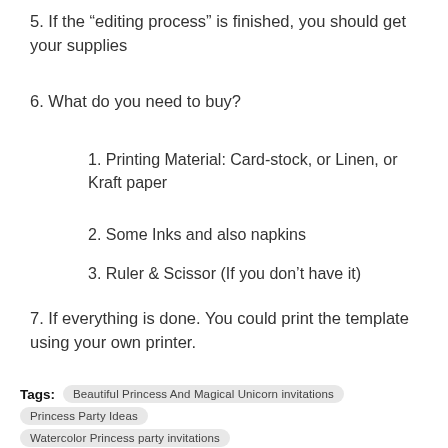5. If the “editing process” is finished, you should get your supplies
6. What do you need to buy?
1. Printing Material: Card-stock, or Linen, or Kraft paper
2. Some Inks and also napkins
3. Ruler & Scissor (If you don’t have it)
7. If everything is done. You could print the template using your own printer.
Tags: Beautiful Princess And Magical Unicorn invitations  Princess Party Ideas  Watercolor Princess party invitations